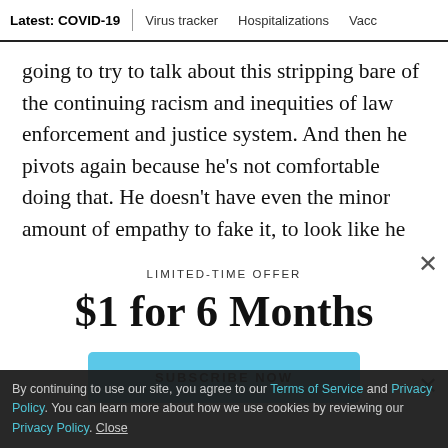Latest: COVID-19 | Virus tracker | Hospitalizations | Vacc
going to try to talk about this stripping bare of the continuing racism and inequities of law enforcement and justice system. And then he pivots again because he’s not comfortable doing that. He doesn’t have even the minor amount of empathy to fake it, to look like he
LIMITED-TIME OFFER
$1 for 6 Months
SUBSCRIBE NOW
By continuing to use our site, you agree to our Terms of Service and Privacy Policy. You can learn more about how we use cookies by reviewing our Privacy Policy. Close